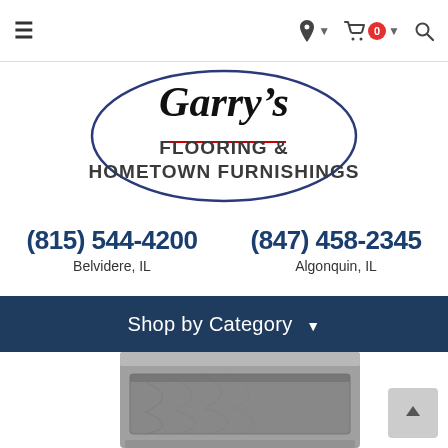≡  🔍 🛒 0
[Figure (logo): Garry's Flooring & Hometown Furnishings logo — oval border with script 'Garry's' on top and 'FLOORING & HOMETOWN FURNISHINGS' in block letters below, with a red underline under FLOORING &]
(815) 544-4200
Belvidere, IL
(847) 458-2345
Algonquin, IL
Shop by Category ▾
[Figure (photo): Partial view of a grey-washed wooden dresser or nightstand with one drawer visible]